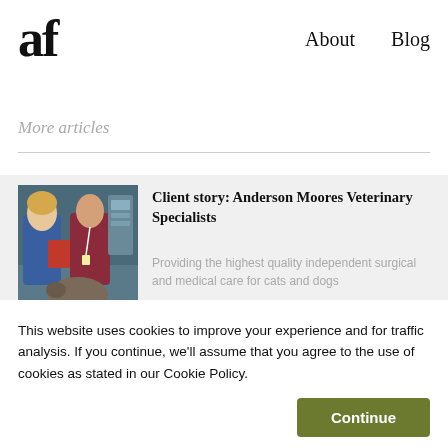af  About  Blog
More articles
[Figure (photo): Two veterinary professionals in scrubs attending to a dog; one woman has blonde hair and another wears a dark red top with a lanyard.]
Client story: Anderson Moores Veterinary Specialists
Providing the highest quality independent surgical and medical care for cats and dogs
This website uses cookies to improve your experience and for traffic analysis. If you continue, we'll assume that you agree to the use of cookies as stated in our Cookie Policy.